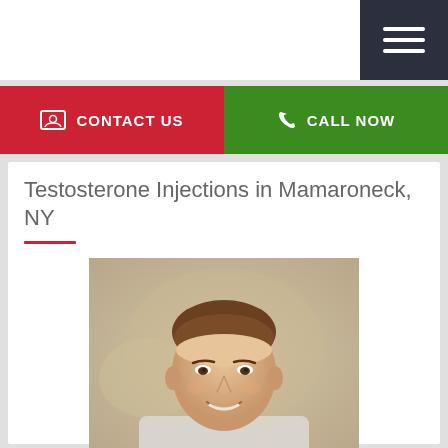Navigation header with hamburger menu
CONTACT US
CALL NOW
Testosterone Injections in Mamaroneck, NY
[Figure (photo): Portrait photo of a smiling middle-aged man with short brown hair wearing a light grey top, photographed from the shoulders up against a soft blurred background.]